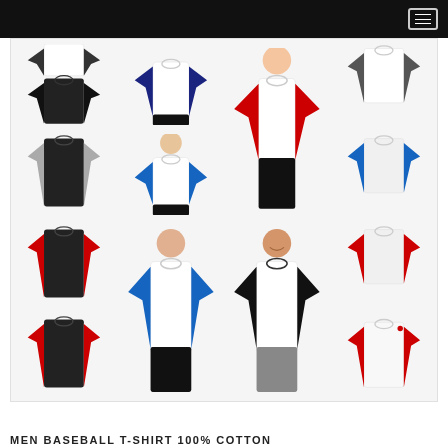[Figure (photo): Product listing image showing multiple men's baseball raglan long sleeve t-shirts in various color combinations: black/black, white/navy, white/red, white/charcoal, black/grey, white/blue, white/blue (model), white/black (model), black/red, white/blue (flat), white/black (model seated), white/red (flat). Images arranged in a 4-column grid on a white/grey background with a black navigation bar at top.]
MEN BASEBALL T-SHIRT 100% COTTON